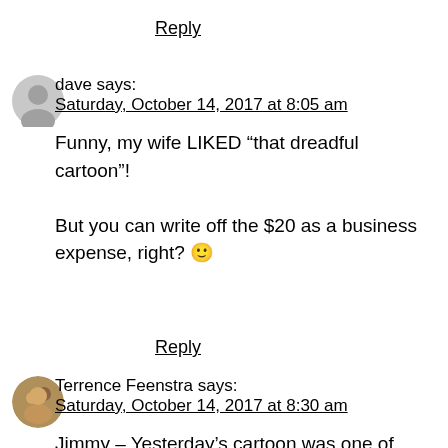Reply
dave says:
Saturday, October 14, 2017 at 8:05 am
Funny, my wife LIKED “that dreadful cartoon”!
But you can write off the $20 as a business expense, right? 🙂
Reply
Terrence Feenstra says:
Saturday, October 14, 2017 at 8:30 am
Jimmy – Yesterday’s cartoon was one of your very best! Used it on my wife – so to